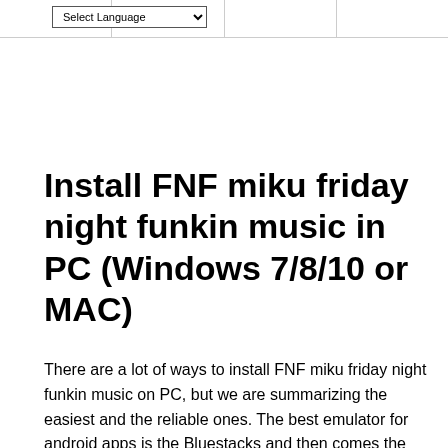Select Language
Install FNF miku friday night funkin music in PC (Windows 7/8/10 or MAC)
There are a lot of ways to install FNF miku friday night funkin music on PC, but we are summarizing the easiest and the reliable ones. The best emulator for android apps is the Bluestacks and then comes the Kn0x App player. We are providing you the tutorials of both of them. You can try the